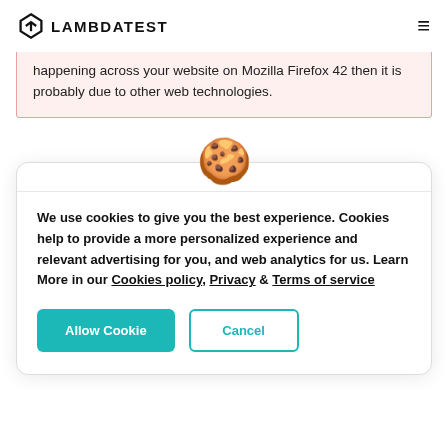LAMBDATEST
happening across your website on Mozilla Firefox 42 then it is probably due to other web technologies.
[Figure (illustration): Cookie emoji icon displayed above the cookie consent modal card]
We use cookies to give you the best experience. Cookies help to provide a more personalized experience and relevant advertising for you, and web analytics for us. Learn More in our Cookies policy, Privacy & Terms of service
Allow Cookie | Cancel